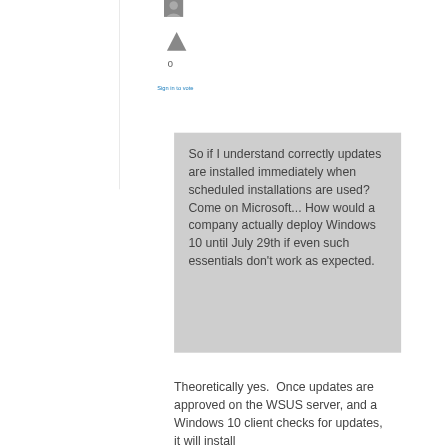[Figure (illustration): User avatar image placeholder (gray box with person silhouette)]
0
Sign in to vote
So if I understand correctly updates are installed immediately when scheduled installations are used? Come on Microsoft... How would a company actually deploy Windows 10 until July 29th if even such essentials don't work as expected.
Theoretically yes.  Once updates are approved on the WSUS server, and a Windows 10 client checks for updates, it will install